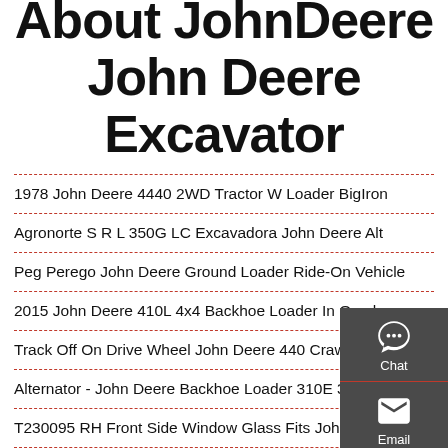About JohnDeere John Deere Excavator
1978 John Deere 4440 2WD Tractor W Loader BigIron
Agronorte S R L 350G LC Excavadora John Deere Alt
Peg Perego John Deere Ground Loader Ride-On Vehicle
2015 John Deere 410L 4x4 Backhoe Loader In Omaha
Track Off On Drive Wheel John Deere 440 Crawler Dozer
Alternator - John Deere Backhoe Loader 310E 310G
T230095 RH Front Side Window Glass Fits John Deere